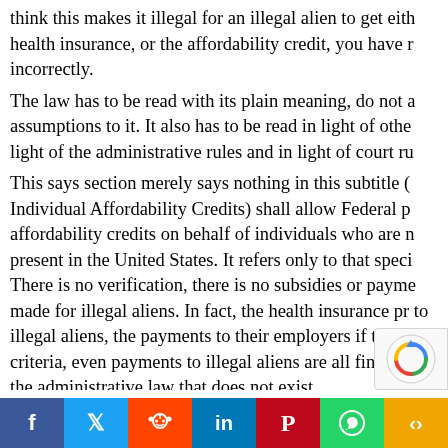think this makes it illegal for an illegal alien to get either health insurance, or the affordability credit, you have read it incorrectly. The law has to be read with its plain meaning, do not add assumptions to it. It also has to be read in light of other laws, in light of the administrative rules and in light of court rulings. This says section merely says nothing in this subtitle (subtitle Individual Affordability Credits) shall allow Federal payments of affordability credits on behalf of individuals who are not lawfully present in the United States. It refers only to that specific subtitle. There is no verification, there is no subsidies or payments being made for illegal aliens. In fact, the health insurance provisions apply to illegal aliens, the payments to their employers if they meet certain criteria, even payments to illegal aliens are all fine depending on the administrative law that does not exist. That is why there needs to a specific exclusion.
[Figure (other): reCAPTCHA badge in bottom-right corner]
[Figure (other): Social media share bar with buttons: Facebook, Twitter, Reddit, LinkedIn, Pinterest, WhatsApp, More]